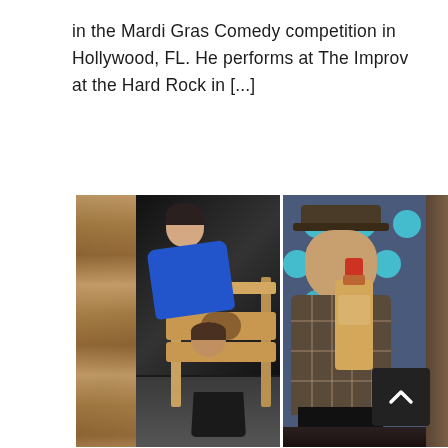in the Mardi Gras Comedy competition in Hollywood, FL. He performs at The Improv at the Hard Rock in [...]
[Figure (photo): A collage of two performance photos side by side. Left photo: a man in a blue shirt leaning over a wooden stocks/pillory device on stage, with another person's head in the stocks and a black bucket underneath. Right photo: a man wearing a fedora hat and plaid shirt holding up a bottle of liquor in a paper bag on a TV-studio-like stage with blue polka dot backdrop.]